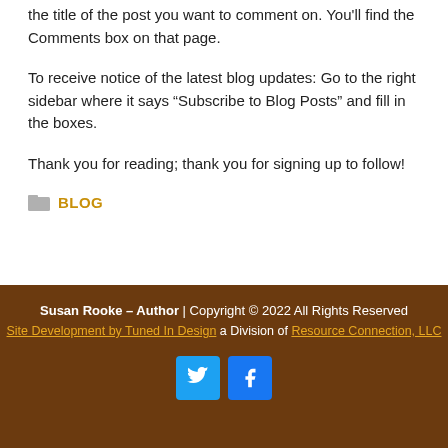the title of the post you want to comment on. You'll find the Comments box on that page.
To receive notice of the latest blog updates: Go to the right sidebar where it says “Subscribe to Blog Posts” and fill in the boxes.
Thank you for reading; thank you for signing up to follow!
BLOG
Susan Rooke – Author | Copyright © 2022 All Rights Reserved
Site Development by Tuned In Design a Division of Resource Connection, LLC